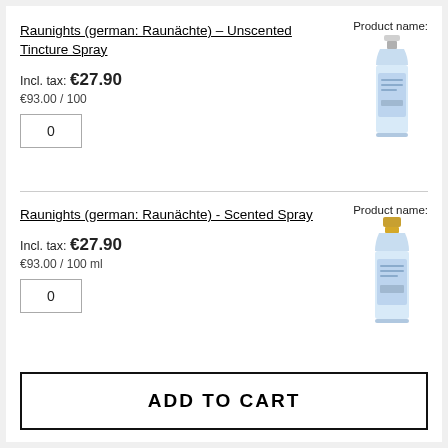Product name:
Raunights (german: Raunächte) – Unscented Tincture Spray
Incl. tax: €27.90
€93.00 / 100
[Figure (photo): Small spray bottle with light blue label and white cap]
0
Product name:
Raunights (german: Raunächte) - Scented Spray
Incl. tax: €27.90
€93.00 / 100 ml
[Figure (photo): Small spray bottle with light blue label and gold cap]
0
ADD TO CART